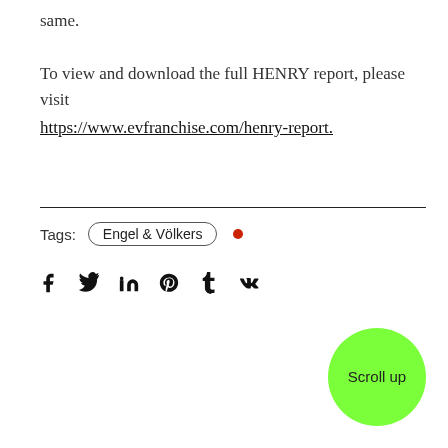same.

To view and download the full HENRY report, please visit https://www.evfranchise.com/henry-report.
Tags: Engel & Völkers
[Figure (other): Social media share icons: Facebook (f), Twitter, LinkedIn (in), Pinterest, Tumblr (t), VK]
[Figure (other): Green circular 'Scroll up' button in the bottom right corner]